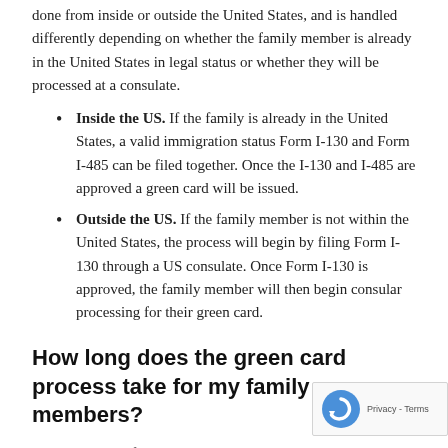done from inside or outside the United States, and is handled differently depending on whether the family member is already in the United States in legal status or whether they will be processed at a consulate.
Inside the US. If the family is already in the United States, a valid immigration status Form I-130 and Form I-485 can be filed together. Once the I-130 and I-485 are approved a green card will be issued.
Outside the US. If the family member is not within the United States, the process will begin by filing Form I-130 through a US consulate. Once Form I-130 is approved, the family member will then begin consular processing for their green card.
How long does the green card process take for my family members?
For certain qualifying relationships, there is no wait time to obtain a visa. Others must wait until a visa number is available before obtaining their green card. Wait times for family-based green card petitions can be placed into two categories: